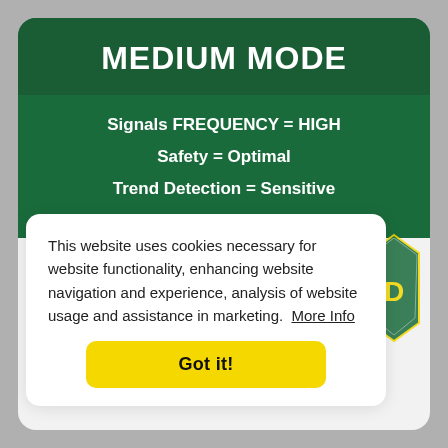MEDIUM MODE
Signals FREQUENCY = HIGH
Safety = Optimal
Trend Detection = Sensitive
This website uses cookies necessary for website functionality, enhancing website navigation and experience, analysis of website usage and assistance in marketing. More Info
Got it!